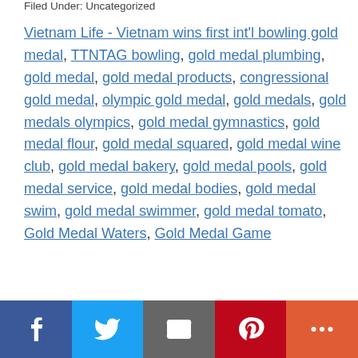Filed Under: Uncategorized
Vietnam Life - Vietnam wins first int'l bowling gold medal, TTNTAG bowling, gold medal plumbing, gold medal, gold medal products, congressional gold medal, olympic gold medal, gold medals, gold medals olympics, gold medal gymnastics, gold medal flour, gold medal squared, gold medal wine club, gold medal bakery, gold medal pools, gold medal service, gold medal bodies, gold medal swim, gold medal swimmer, gold medal tomato, Gold Medal Waters, Gold Medal Game
[Figure (other): Social share bar with Facebook, Twitter, Email, Pinterest, and More buttons]